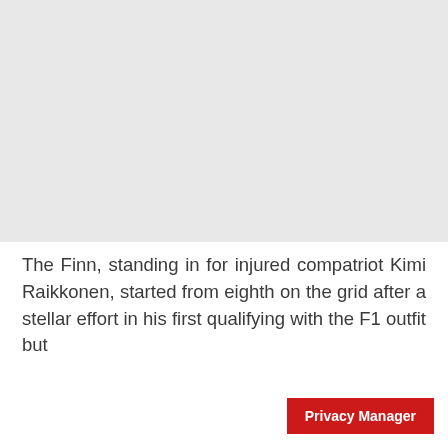[Figure (photo): Large gray placeholder image area occupying the top portion of the page]
The Finn, standing in for injured compatriot Kimi Raikkonen, started from eighth on the grid after a stellar effort in his first qualifying with the F1 outfit but
Privacy Manager